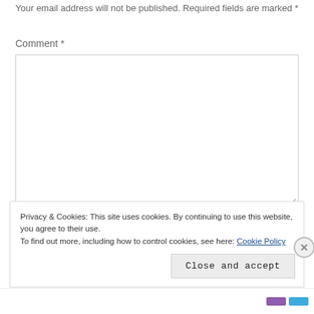Your email address will not be published. Required fields are marked *
Comment *
[Figure (screenshot): A comment text input box, empty, with a resize handle in the bottom-right corner]
Privacy & Cookies: This site uses cookies. By continuing to use this website, you agree to their use.
To find out more, including how to control cookies, see here: Cookie Policy
Close and accept